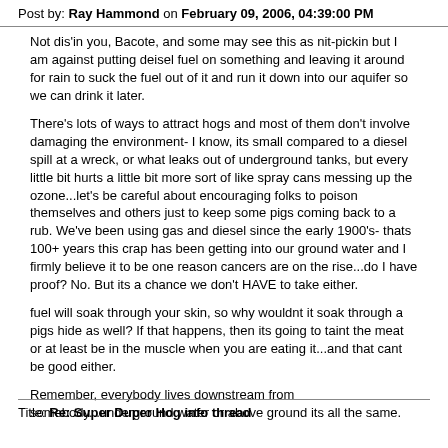Post by: Ray Hammond on February 09, 2006, 04:39:00 PM
Not dis'in you, Bacote, and some may see this as nit-pickin but I am against putting deisel fuel on something and leaving it around for rain to suck the fuel out of it and run it down into our aquifer so we can drink it later.
There's lots of ways to attract hogs and most of them don't involve damaging the environment- I know, its small compared to a diesel spill at a wreck, or what leaks out of underground tanks, but every little bit hurts a little bit more sort of like spray cans messing up the ozone...let's be careful about encouraging folks to poison themselves and others just to keep some pigs coming back to a rub. We've been using gas and diesel since the early 1900's- thats 100+ years this crap has been getting into our ground water and I firmly believe it to be one reason cancers are on the rise...do I have proof? No. But its a chance we don't HAVE to take either.
fuel will soak through your skin, so why wouldnt it soak through a pigs hide as well? If that happens, then its going to taint the meat or at least be in the muscle when you are eating it...and that cant be good either.
Remember, everybody lives downstream from somebody...underground water or above ground its all the same.
Title: Re: Super Duper Hog info thread